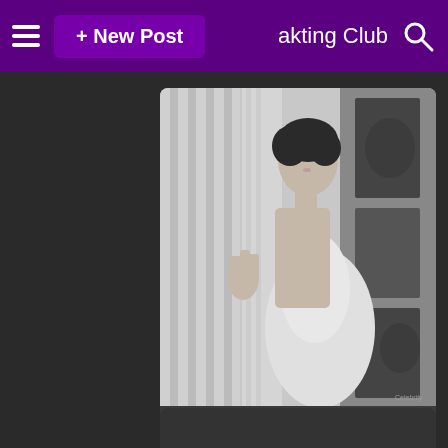≡  + New Post    akting Club 🔍
[Figure (photo): Black and white vintage photograph of Audrey Hepburn in a white dress, leaning against a pillar, looking over her shoulder]
audrey hepburn
added by EmilyRudd